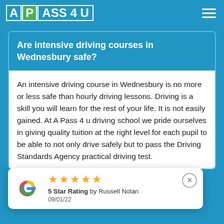A PASS 4 U
Are intensive driving courses in Wednesbury safe?
An intensive driving course in Wednesbury is no more or less safe than hourly driving lessons. Driving is a skill you will learn for the rest of your life. It is not easily gained. At A Pass 4 u driving school we pride ourselves in giving quality tuition at the right level for each pupil to be able to not only drive safely but to pass the Driving Standards Agency practical driving test.
5 Star Rating by Russell Nolan 09/01/22